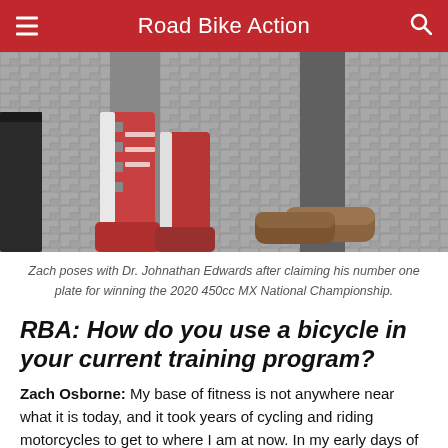Road Bike Action
[Figure (photo): Two people standing on a tiled floor — one wearing red/white motocross boots and the other wearing brown casual shoes/slippers. A black container is visible on the left side of the image.]
Zach poses with Dr. Johnathan Edwards after claiming his number one plate for winning the 2020 450cc MX National Championship.
RBA: How do you use a bicycle in your current training program?
Zach Osborne: My base of fitness is not anywhere near what it is today, and it took years of cycling and riding motorcycles to get to where I am at now. In my early days of cycling, I remember pushing very hard on the bicycle as my pain threshold was not very high. After years of doing intervals on